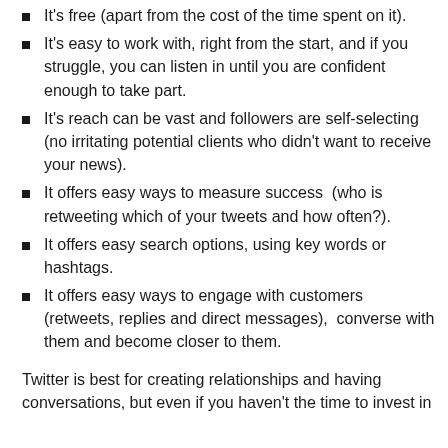It's free (apart from the cost of the time spent on it).
It's easy to work with, right from the start, and if you struggle, you can listen in until you are confident enough to take part.
It's reach can be vast and followers are self-selecting (no irritating potential clients who didn't want to receive your news).
It offers easy ways to measure success  (who is retweeting which of your tweets and how often?).
It offers easy search options, using key words or hashtags.
It offers easy ways to engage with customers (retweets, replies and direct messages),  converse with them and become closer to them.
Twitter is best for creating relationships and having conversations, but even if you haven't the time to invest in